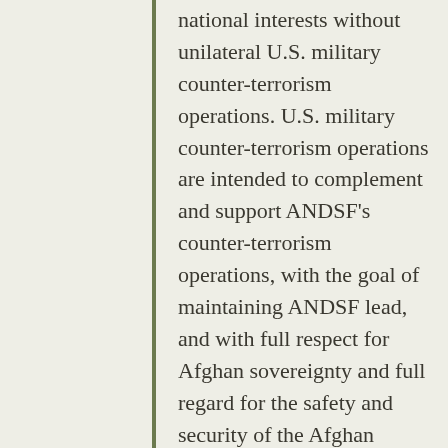national interests without unilateral U.S. military counter-terrorism operations. U.S. military counter-terrorism operations are intended to complement and support ANDSF's counter-terrorism operations, with the goal of maintaining ANDSF lead, and with full respect for Afghan sovereignty and full regard for the safety and security of the Afghan people, including in their homes.
United States forces may undertake transit, support, and related activities, …